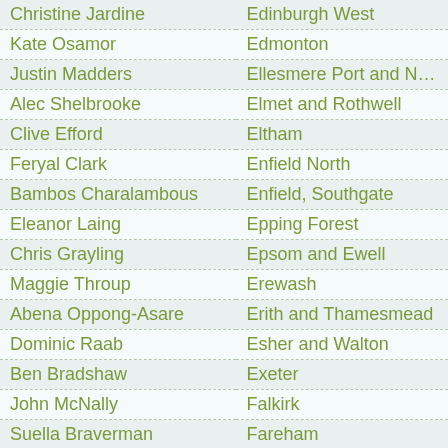| Name | Constituency |
| --- | --- |
| Christine Jardine | Edinburgh West |
| Kate Osamor | Edmonton |
| Justin Madders | Ellesmere Port and Neston |
| Alec Shelbrooke | Elmet and Rothwell |
| Clive Efford | Eltham |
| Feryal Clark | Enfield North |
| Bambos Charalambous | Enfield, Southgate |
| Eleanor Laing | Epping Forest |
| Chris Grayling | Epsom and Ewell |
| Maggie Throup | Erewash |
| Abena Oppong-Asare | Erith and Thamesmead |
| Dominic Raab | Esher and Walton |
| Ben Bradshaw | Exeter |
| John McNally | Falkirk |
| Suella Braverman | Fareham |
| Helen Whately | Faversham and Mid Kent |
| Seema Malhotra | Feltham and Heston |
| Michelle Gildernew | Fermanagh and South Tyrone |